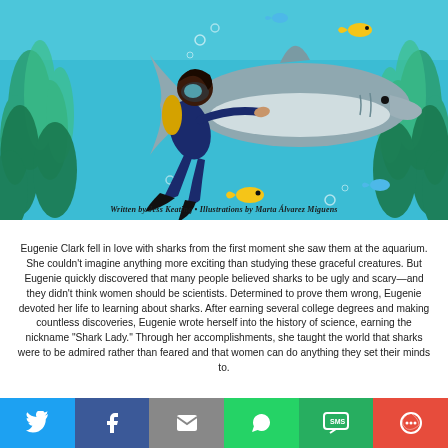[Figure (illustration): Illustrated book cover showing a female scuba diver with dark hair swimming alongside a large shark in a teal underwater scene with colorful fish and sea plants. Credit text reads: Written by Jess Keating • Illustrations by Marta Álvarez Miguens]
Eugenie Clark fell in love with sharks from the first moment she saw them at the aquarium. She couldn't imagine anything more exciting than studying these graceful creatures. But Eugenie quickly discovered that many people believed sharks to be ugly and scary—and they didn't think women should be scientists. Determined to prove them wrong, Eugenie devoted her life to learning about sharks. After earning several college degrees and making countless discoveries, Eugenie wrote herself into the history of science, earning the nickname "Shark Lady." Through her accomplishments, she taught the world that sharks were to be admired rather than feared and that women can do anything they set their minds to.
Social share bar with Twitter, Facebook, Email, WhatsApp, SMS, Share More